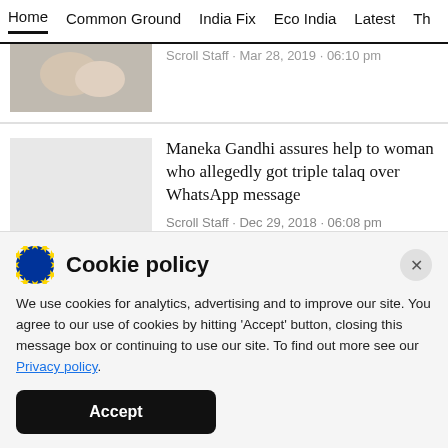Home · Common Ground · India Fix · Eco India · Latest · Th
[Figure (photo): Partial photo of person lying down, cropped at top]
Scroll Staff · Mar 28, 2019 · 06:10 pm
[Figure (photo): Grey placeholder thumbnail for article]
Maneka Gandhi assures help to woman who allegedly got triple talaq over WhatsApp message
Scroll Staff · Dec 29, 2018 · 06:08 pm
Cookie policy
We use cookies for analytics, advertising and to improve our site. You agree to our use of cookies by hitting 'Accept' button, closing this message box or continuing to use our site. To find out more see our Privacy policy.
Accept